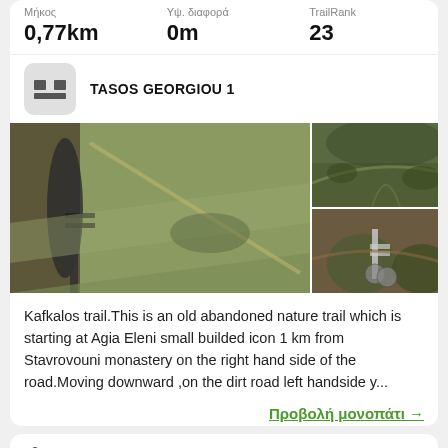| Μήκος | Υψ. διαφορά | TrailRank |
| --- | --- | --- |
| 0,77km | 0m | 23 |
TASOS GEORGIOU 1
[Figure (photo): Three photos of mountain bike trail: main large photo showing a mountain bike on a grassy hillside trail, top-right photo showing a forested trail from above, bottom-right photo showing a mountain bike on a narrow dirt trail through shrubs.]
Kafkalos trail.This is an old abandoned nature trail which is starting at Agia Eleni small builded icon 1 km from Stavrovouni monastery on the right hand side of the road.Moving downward ,on the dirt road left handside y...
Προβολή μονοπάτι →